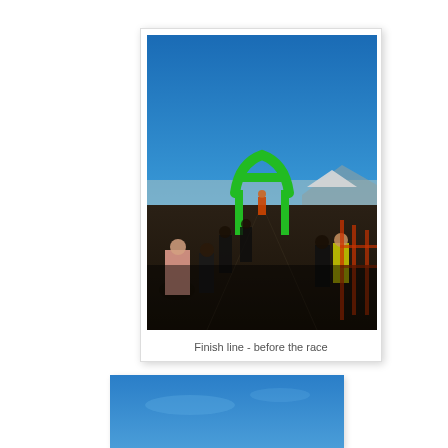[Figure (photo): Photo of a race finish line setup before the race begins. A green inflatable arch spans a dark asphalt road leading into the distance. Several people in running/spectator attire stand along the sides. Clear blue sky in the background with mountains on the horizon. Event fencing lines the right side.]
Finish line - before the race
[Figure (photo): Partial photo showing a blue sky, cropped at the bottom of the page.]